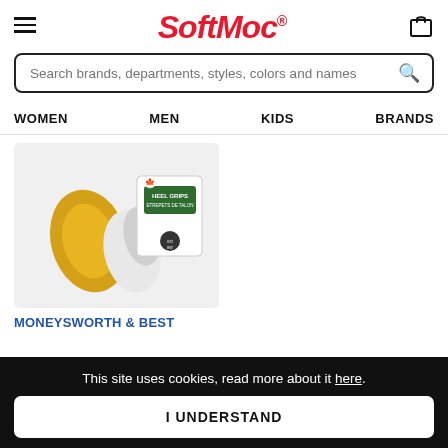SoftMoc (logo with hamburger menu and shopping bag)
Search brands, departments, styles, colors and names
WOMEN  MEN  KIDS  BRANDS
[Figure (photo): Product image of Moneysworth & Best Heel Grips / Etrepets De Talon, showing a beige/gold curved heel grip beside packaging on a light grey background.]
MONEYSWORTH & BEST
This site uses cookies, read more about it here.
I UNDERSTAND